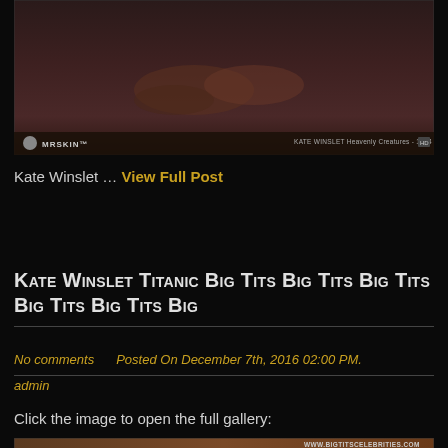[Figure (photo): Screenshot from MrSkin website showing a video still with dark reddish tones, hands visible. MrSkin logo bottom left, Kate Winslet metadata bottom right.]
Kate Winslet … View Full Post
Kate Winslet Titanic Big Tits Big Tits Big Tits Big Tits Big Tits Big
No comments   Posted On December 7th, 2016 02:00 PM.
admin
Click the image to open the full gallery:
[Figure (photo): Bottom image showing a blonde woman in a scene, with watermark WWW.BIGTITSCELEBRITIES.COM in upper right.]